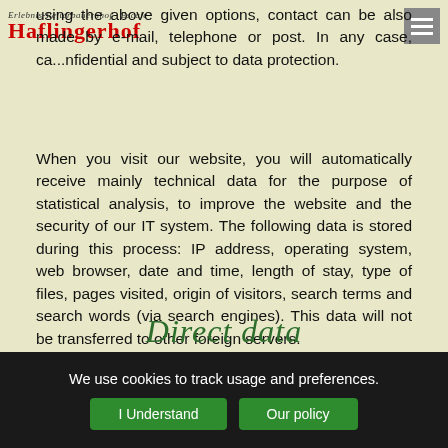Erlebnis-Reiterbauernhof · Escale | Haflingerhof
using the above given options, contact can be also made by e-mail, telephone or post. In any case, ca... nfidential and subject to data protection.
When you visit our website, you will automatically receive mainly technical data for the purpose of statistical analysis, to improve the website and the security of our IT system. The following data is stored during this process: IP address, operating system, web browser, date and time, length of stay, type of files, pages visited, origin of visitors, search terms and search words (via search engines). This data will not be transferred to other foreign servers.
Direct data
We use cookies to track usage and preferences. I Understand Our policy